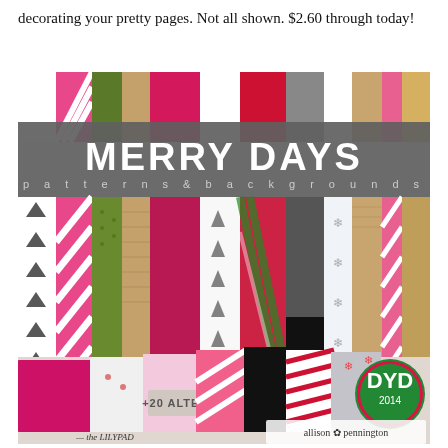decorating your pretty pages. Not all shown. $2.60 through today!
[Figure (photo): Product image for 'Merry Days Patterns & Backgrounds' digital scrapbooking kit by Allison Pennington. Shows a colorful grid of Christmas-themed patterned papers in pink, green, red, white, black, and gold. Patterns include houndstooth, plaid, stripes, triangles, polka dots, snowflakes, and Christmas trees. Bottom section shows stacked alternate papers fanned out. Labels include '+20 ALTERNATES', 'DYD 2014', 'allison pennington', and 'the LILYPAD' branding.]